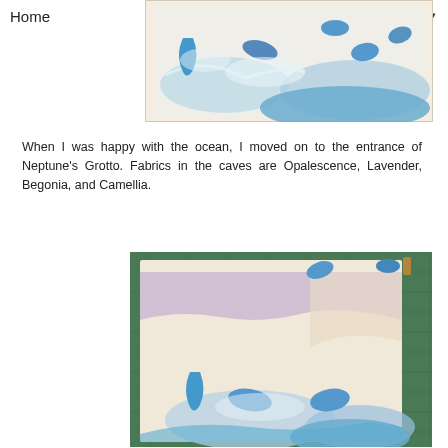Home ▼
[Figure (photo): Quilt fabric artwork showing white/cream fabric background with light blue fabric ocean wave shapes and darker blue accents, depicting an ocean scene.]
When I was happy with the ocean, I moved on to the entrance of Neptune's Grotto.  Fabrics in the caves are Opalescence, Lavender, Begonia, and Camellia.
[Figure (photo): Quilt in progress showing layered fabrics: cream/white base, a lavender/purple horizontal band representing cave entrance, and blue ocean wave fabric pieces at the bottom, laid out on a green cutting mat.]